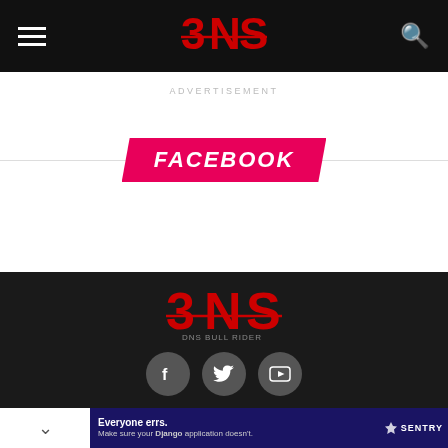DNS navigation bar with hamburger menu, DNS logo (red), and search icon
ADVERTISEMENT
FACEBOOK
[Figure (logo): DNS logo in red on dark background, footer area]
[Figure (infographic): Social media icons: Facebook (f), Twitter bird, YouTube play button]
ABOUT   CONTACT   PRIVACY POLICY   NEWS   UPDATE
Everyone errs. Make sure your Django application doesn't. — SENTRY